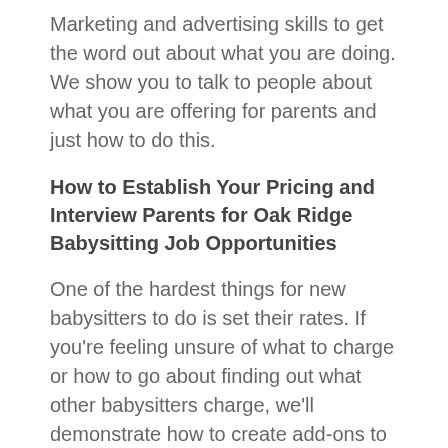Marketing and advertising skills to get the word out about what you are doing. We show you to talk to people about what you are offering for parents and just how to do this.
How to Establish Your Pricing and Interview Parents for Oak Ridge Babysitting Job Opportunities
One of the hardest things for new babysitters to do is set their rates. If you're feeling unsure of what to charge or how to go about finding out what other babysitters charge, we'll demonstrate how to create add-ons to make more money while babysitting and how you can set your base prices.